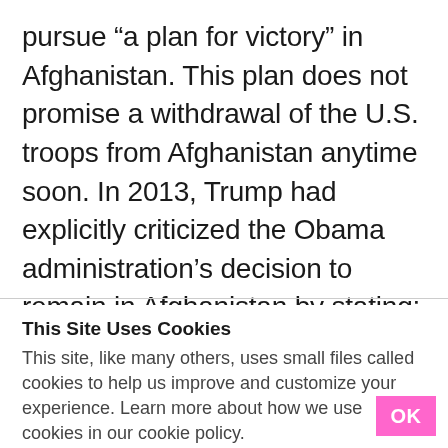pursue “a plan for victory” in Afghanistan. This plan does not promise a withdrawal of the U.S. troops from Afghanistan anytime soon. In 2013, Trump had explicitly criticized the Obama administration’s decision to remain in Afghanistan by stating: “Let’s
This Site Uses Cookies
This site, like many others, uses small files called cookies to help us improve and customize your experience. Learn more about how we use cookies in our cookie policy.